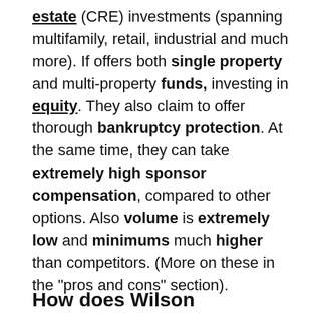estate (CRE) investments (spanning multifamily, retail, industrial and much more). If offers both single property and multi-property funds, investing in equity. They also claim to offer thorough bankruptcy protection. At the same time, they can take extremely high sponsor compensation, compared to other options. Also volume is extremely low and minimums much higher than competitors. (More on these in the "pros and cons" section).
How does Wilson